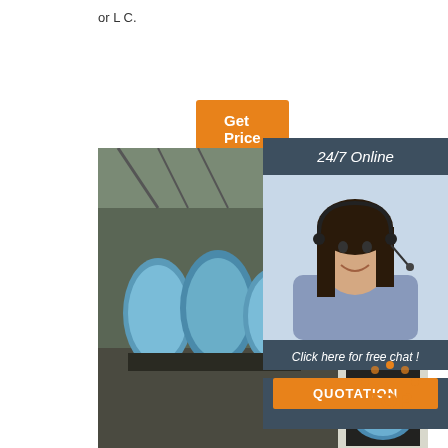or L C.
Get Price
[Figure (photo): Warehouse photo showing generators wrapped in blue plastic packaging, with a tall metal cabinet in the foreground]
24/7 Online
[Figure (photo): Customer service representative woman wearing a headset, smiling]
Click here for free chat !
QUOTATION
[Figure (logo): TOP badge logo with orange dots forming an arc above the word TOP]